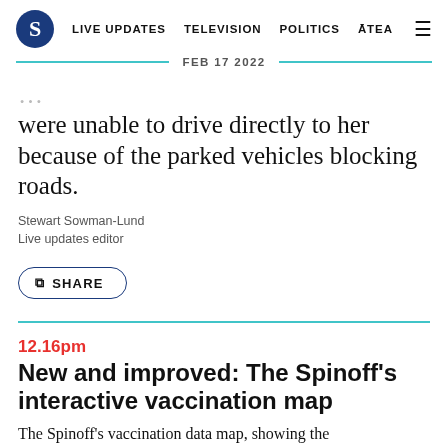S | LIVE UPDATES | TELEVISION | POLITICS | ĀTEA | ☰
FEB 17 2022
were unable to drive directly to her because of the parked vehicles blocking roads.
Stewart Sowman-Lund
Live updates editor
SHARE
12.16pm
New and improved: The Spinoff's interactive vaccination map
The Spinoff's vaccination data map, showing the